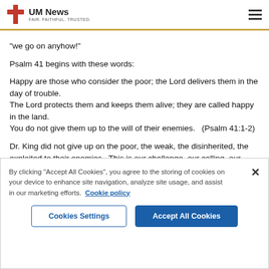UM News — FAIR. FAITHFUL. TRUSTED.
“we go on anyhow!”
Psalm 41 begins with these words:
Happy are those who consider the poor; the Lord delivers them in the day of trouble.
The Lord protects them and keeps them alive; they are called happy in the land.
You do not give them up to the will of their enemies.   (Psalm 41:1-2)
Dr. King did not give up on the poor, the weak, the disinherited, the exploited to their enemies.  This is our challenge, our calling, our commitment, our reason for coming today to pursue truth and
By clicking “Accept All Cookies”, you agree to the storing of cookies on your device to enhance site navigation, analyze site usage, and assist in our marketing efforts.  Cookie policy